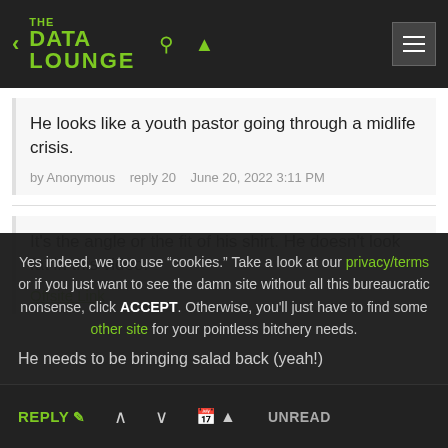THE DATA LOUNGE
He looks like a youth pastor going through a midlife crisis.
by Anonymous   reply 20   June 20, 2022 3:11 PM
It's the angle or the fit of his shirt. He doesn't look fat in this video.
Offsite Link
Yes indeed, we too use "cookies." Take a look at our privacy/terms or if you just want to see the damn site without all this bureaucratic nonsense, click ACCEPT. Otherwise, you'll just have to find some other site for your pointless bitchery needs.
He needs to be bringing salad back (yeah!)
REPLY   ▲   ▼   UNREAD